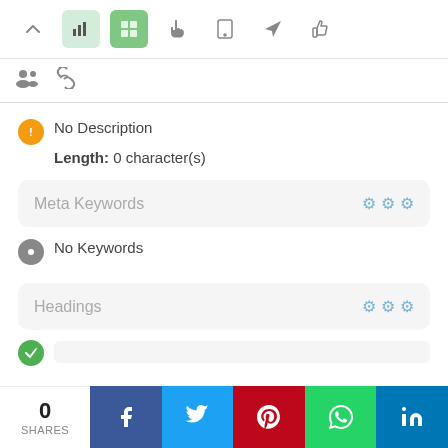[Figure (screenshot): Toolbar row with icons: chevron up, bar chart (light green background), grid/table icon (green background), hand pointer, mobile phone, send/rocket, thumbs up]
[Figure (screenshot): Second toolbar row with two icons: group/users icon and link/chain icon]
No Description
Length: 0 character(s)
Meta Keywords
No Keywords
Headings
0 SHARES
[Figure (screenshot): Social share bar with Facebook, Twitter, Pinterest, WhatsApp, LinkedIn buttons]